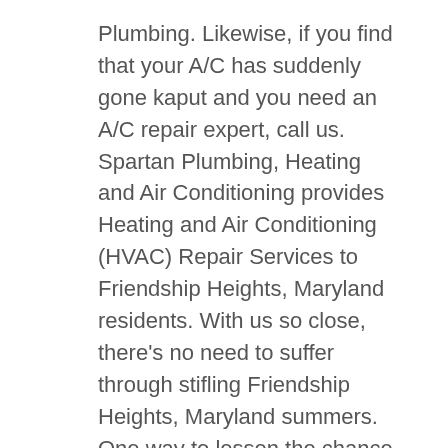Plumbing. Likewise, if you find that your A/C has suddenly gone kaput and you need an A/C repair expert, call us. Spartan Plumbing, Heating and Air Conditioning provides Heating and Air Conditioning (HVAC) Repair Services to Friendship Heights, Maryland residents. With us so close, there's no need to suffer through stifling Friendship Heights, Maryland summers. One way to lessen the chance of this ever happening is to take advantage of the Annual Service Maintenance Contracts on Central Air Conditioning Systems we offer to Friendship Heights, Maryland residents. To make sure your Central Air Conditioning System or Heat Pump is in first-rate working order during hot Friendship Heights, MD summers, Spartan does A/C check-ups and A/C tune-ups.
Don't let your Friendship Heights, MD home be caught for even one night with no heat and in need